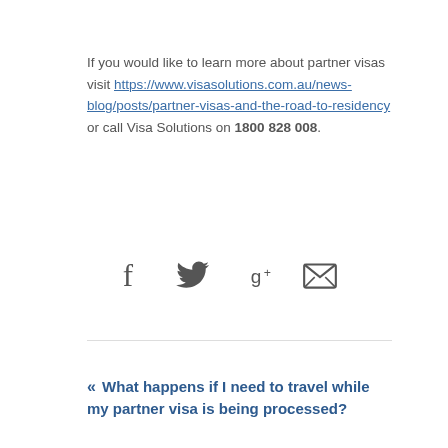If you would like to learn more about partner visas visit https://www.visasolutions.com.au/news-blog/posts/partner-visas-and-the-road-to-residency or call Visa Solutions on 1800 828 008.
[Figure (infographic): Social share icons: Facebook (f), Twitter (bird), Google+ (g+), and an envelope/email icon]
« What happens if I need to travel while my partner visa is being processed?